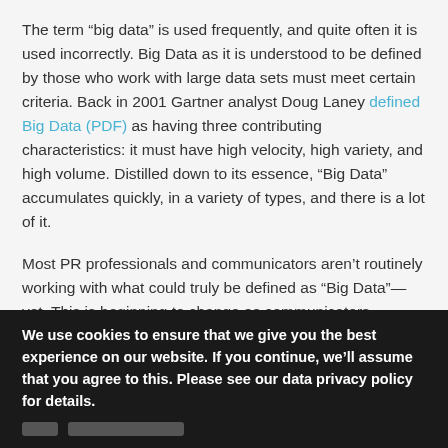The term “big data” is used frequently, and quite often it is used incorrectly. Big Data as it is understood to be defined by those who work with large data sets must meet certain criteria. Back in 2001 Gartner analyst Doug Laney defined Big Data (PDF) as having three contributing characteristics: it must have high velocity, high variety, and high volume. Distilled down to its essence, “Big Data” accumulates quickly, in a variety of types, and there is a lot of it.
Most PR professionals and communicators aren’t routinely working with what could truly be defined as “Big Data”—yet. This is beginning to change as communicators become more aware of how corporate data are being used
We use cookies to ensure that we give you the best experience on our website. If you continue, we’ll assume that you agree to this. Please see our data privacy policy for details.